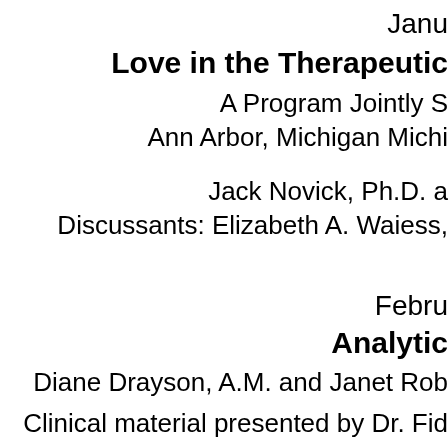Janu
Love in the Therapeutic
A Program Jointly S
Ann Arbor, Michigan Michi
Jack Novick, Ph.D. a
Discussants: Elizabeth A. Waiess,
Febru
Analytic
Diane Drayson, A.M. and Janet Rob
Clinical material presented by Dr. Fid
Self Psycholog
East Lansing, Michigan Un
Mar
Spec
Findings of Contemporary Neuros
Und
Herbert Kilbalne, Ph.D